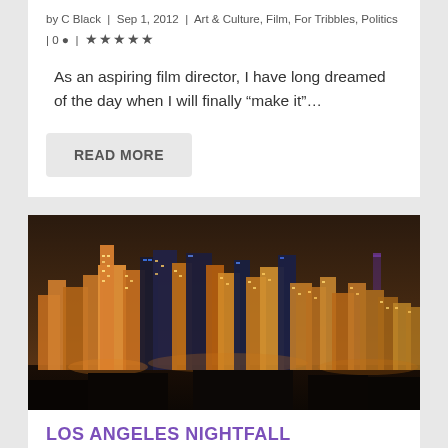by C Black | Sep 1, 2012 | Art & Culture, Film, For Tribbles, Politics | 0 | ★★★★★
As an aspiring film director, I have long dreamed of the day when I will finally “make it”…
READ MORE
[Figure (photo): Night cityscape of Los Angeles skyline with illuminated skyscrapers and city lights against a dark sky]
LOS ANGELES NIGHTFALL
by Michael Withem | Aug 24, 2012 | Art & Culture, Film, For Tribbles, …